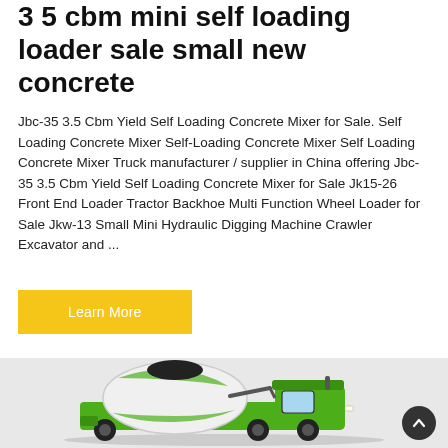3 5 cbm mini self loading loader sale small new concrete
Jbc-35 3.5 Cbm Yield Self Loading Concrete Mixer for Sale. Self Loading Concrete Mixer Self-Loading Concrete Mixer Self Loading Concrete Mixer Truck manufacturer / supplier in China offering Jbc-35 3.5 Cbm Yield Self Loading Concrete Mixer for Sale Jk15-26 Front End Loader Tractor Backhoe Multi Function Wheel Loader for Sale Jkw-13 Small Mini Hydraulic Digging Machine Crawler Excavator and ...
Learn More
[Figure (photo): A green and white self-loading concrete mixer truck on a light grey background]